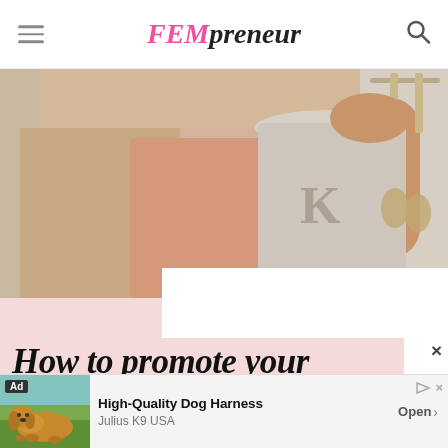FEMpreneur
[Figure (photo): Woman in light pink/beige cardigan holding a mug with a decorative letter K up to her face, with curtains and window hardware visible in the background. A white overlay box covers the right portion of the image.]
How to promote your
[Figure (screenshot): Advertisement bar at the bottom showing a dog (likely a golden retriever) in an outdoor setting. Ad for High-Quality Dog Harness by Julius K9 USA with an Open button.]